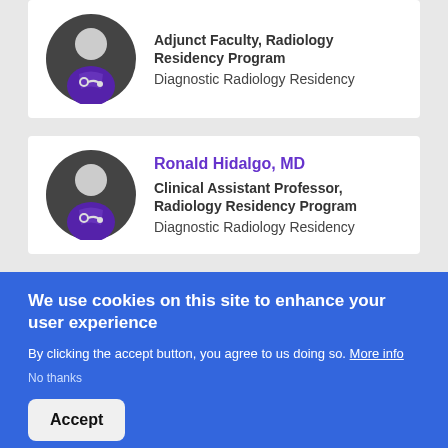[Figure (illustration): Doctor avatar icon: dark circular background with grey silhouette wearing purple medical scrubs and stethoscope, partially cut off at top]
Adjunct Faculty, Radiology Residency Program
Diagnostic Radiology Residency
[Figure (illustration): Doctor avatar icon: dark circular background with grey silhouette wearing purple medical scrubs and stethoscope]
Ronald Hidalgo, MD
Clinical Assistant Professor, Radiology Residency Program
Diagnostic Radiology Residency
We use cookies on this site to enhance your user experience
By clicking the accept button, you agree to us doing so. More info
No thanks
Accept